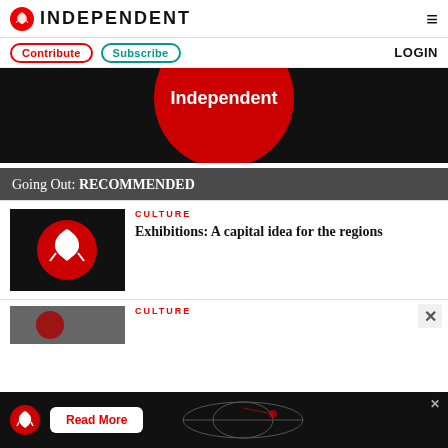INDEPENDENT
Contribute | Subscribe | LOGIN
[Figure (photo): Dark background with large red circle and white text, hero banner image]
Going Out: RECOMMENDED
CULTURE
Exhibitions: A capital idea for the regions
[Figure (photo): Independent newspaper logo — eagle on red circle on black background, article thumbnail]
CULTURE
[Figure (photo): Partial article thumbnail image, dark/red tones]
[Figure (logo): Independent eagle logo on red circle in ad bar at bottom]
Read More